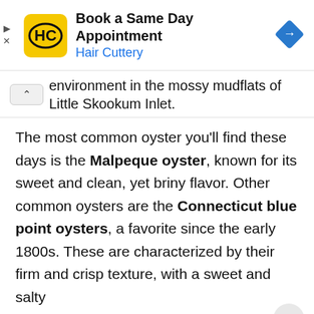[Figure (other): Hair Cuttery advertisement banner with yellow logo (HC), text 'Book a Same Day Appointment' and 'Hair Cuttery' in blue, and a blue diamond navigation icon on the right.]
environment in the mossy mudflats of Little Skookum Inlet.
The most common oyster you'll find these days is the Malpeque oyster, known for its sweet and clean, yet briny flavor. Other common oysters are the Connecticut blue point oysters, a favorite since the early 1800s. These are characterized by their firm and crisp texture, with a sweet and salty finish.